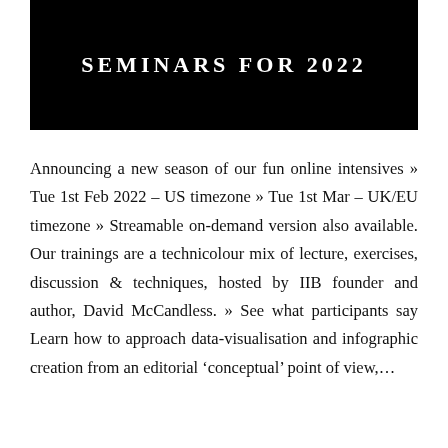SEMINARS FOR 2022
Announcing a new season of our fun online intensives » Tue 1st Feb 2022 – US timezone » Tue 1st Mar – UK/EU timezone » Streamable on-demand version also available. Our trainings are a technicolour mix of lecture, exercises, discussion & techniques, hosted by IIB founder and author, David McCandless. » See what participants say Learn how to approach data-visualisation and infographic creation from an editorial 'conceptual' point of view,...